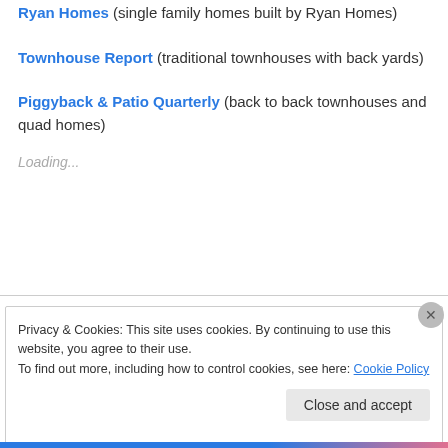Ryan Homes (single family homes built by Ryan Homes)
Townhouse Report (traditional townhouses with back yards)
Piggyback & Patio Quarterly (back to back townhouses and quad homes)
Loading...
Privacy & Cookies: This site uses cookies. By continuing to use this website, you agree to their use. To find out more, including how to control cookies, see here: Cookie Policy
Close and accept